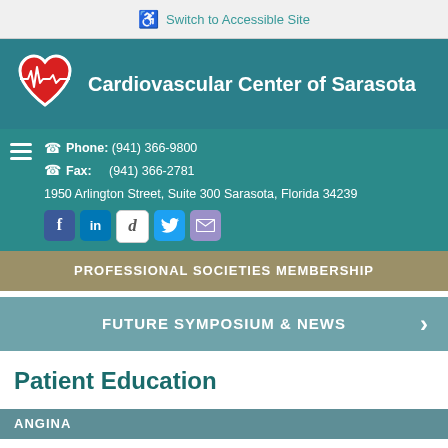♿ Switch to Accessible Site
Cardiovascular Center of Sarasota
Phone: (941) 366-9800
Fax: (941) 366-2781
1950 Arlington Street, Suite 300 Sarasota, Florida 34239
PROFESSIONAL SOCIETIES MEMBERSHIP
FUTURE SYMPOSIUM & NEWS
Patient Education
ANGINA